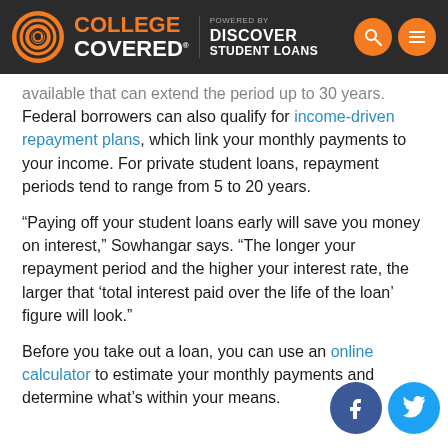College Covered — Powered by Discover Student Loans
available that can extend the period up to 30 years. Federal borrowers can also qualify for income-driven repayment plans, which link your monthly payments to your income. For private student loans, repayment periods tend to range from 5 to 20 years.
“Paying off your student loans early will save you money on interest,” Sowhangar says. “The longer your repayment period and the higher your interest rate, the larger that ‘total interest paid over the life of the loan’ figure will look.”
Before you take out a loan, you can use an online calculator to estimate your monthly payments and determine what’s within your means.